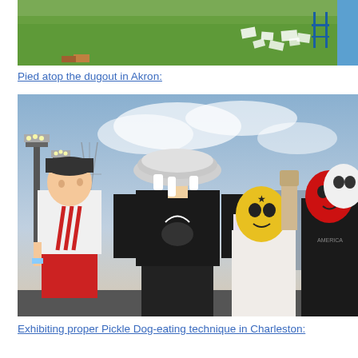[Figure (photo): Top portion of an outdoor photo showing a grass field with papers/items scattered on the ground, a chair visible, person in blue shirt on right edge]
Pied atop the dugout in Akron:
[Figure (photo): People standing on a baseball dugout. Center person wearing black t-shirt has a pie tin on their face. Others wear wrestling masks (yellow, red, white). A kid in white Adidas shirt and red shorts watches. Stadium lights and city buildings in background.]
Exhibiting proper Pickle Dog-eating technique in Charleston: